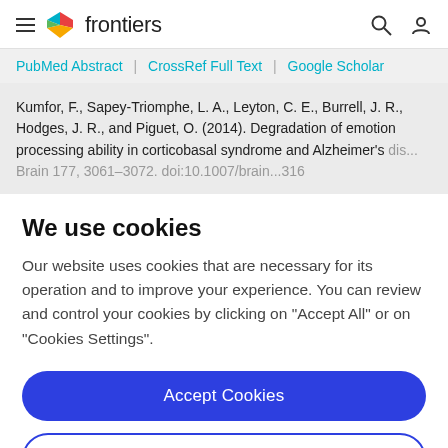frontiers
PubMed Abstract | CrossRef Full Text | Google Scholar
Kumfor, F., Sapey-Triomphe, L. A., Leyton, C. E., Burrell, J. R., Hodges, J. R., and Piguet, O. (2014). Degradation of emotion processing ability in corticobasal syndrome and Alzheimer's dis... Brain 177, 3061–3072. doi:10.1007/brain...316
We use cookies
Our website uses cookies that are necessary for its operation and to improve your experience. You can review and control your cookies by clicking on "Accept All" or on "Cookies Settings".
Accept Cookies
Cookies Settings